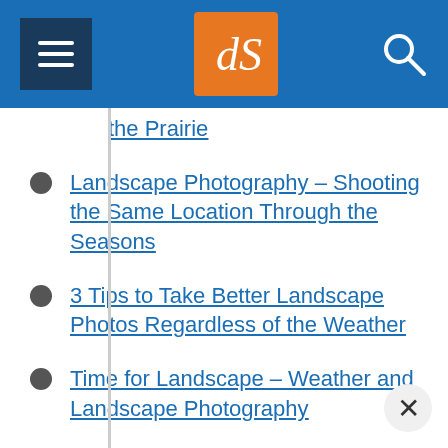dPS (Digital Photography School) navigation header
the Prairie
Landscape Photography – Shooting the Same Location Through the Seasons
3 Tips to Take Better Landscape Photos Regardless of the Weather
Time for Landscape – Weather and Landscape Photography
Tips for Landscape Photography in Exotic Places
Putting You Into Your Landscape Photography